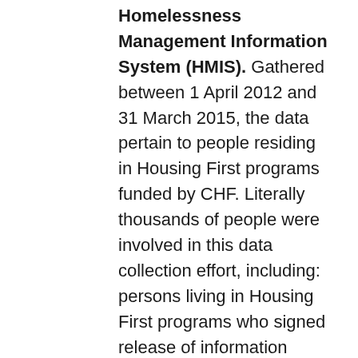Homelessness Management Information System (HMIS). Gathered between 1 April 2012 and 31 March 2015, the data pertain to people residing in Housing First programs funded by CHF. Literally thousands of people were involved in this data collection effort, including: persons living in Housing First programs who signed release of information forms; staff in Calgary's Homeless-Serving System of Care who inputted the data; CHF staff who provided training and support to community on how to use HMIS; as well as CHF staff who then cleaned the data.[2] The data in question were gathered on each person residing in Housing First every three months. An intake form was first completed by a case manager at intake into the program;